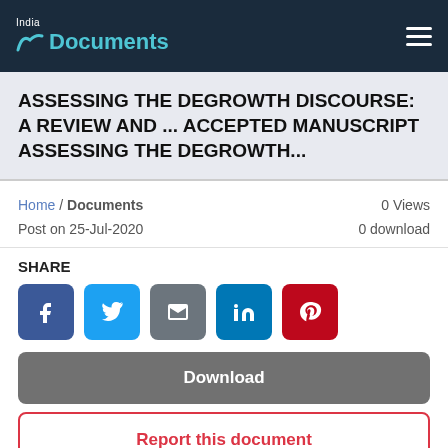India Documents
ASSESSING THE DEGROWTH DISCOURSE: A REVIEW AND ... ACCEPTED MANUSCRIPT ASSESSING THE DEGROWTH...
Home / Documents
0 Views
Post on 25-Jul-2020
0 download
SHARE
[Figure (infographic): Social share buttons: Facebook, Twitter, Email, LinkedIn, Pinterest]
Download
Report this document